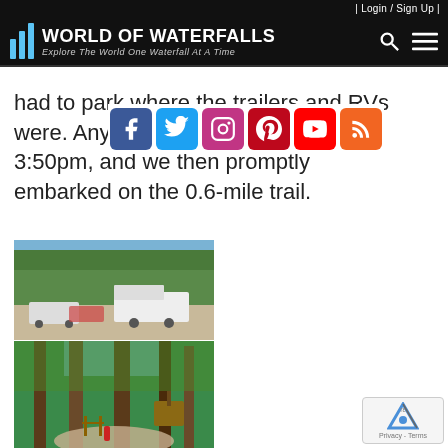| Login / Sign Up |
World of Waterfalls — Explore The World One Waterfall At A Time
had to park where the trailers and RVs were. Anyways, we arrived at 3:50pm, and we then promptly embarked on the 0.6-mile trail.
[Figure (photo): Top: a parking lot with trees, cars, and a white RV/bus. Middle: tall trees along a forest trail with a small figure and a sign. Bottom: partial view of another scene.]
[Figure (infographic): Social media share buttons: Facebook, Twitter, Instagram, Pinterest, YouTube, RSS]